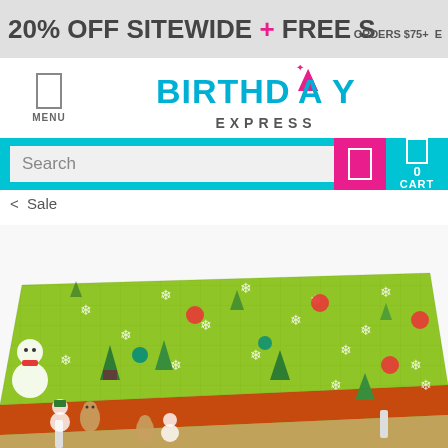20% OFF SITEWIDE + FREE S ORDERS $75+ E
[Figure (logo): Birthday Express logo with party hat icon]
Search
0 CART
< Sale
[Figure (photo): Christmas themed green tablecloth with snowflakes, gingerbread men, snowmen, and Christmas trees pattern, draped over a table]